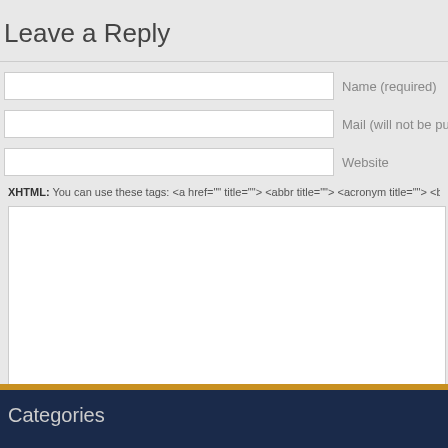Leave a Reply
Name (required)
Mail (will not be published)
Website
XHTML: You can use these tags: <a href="" title=""> <abbr title=""> <acronym title=""> <b> <blockquote c
Submit Comment
Categories